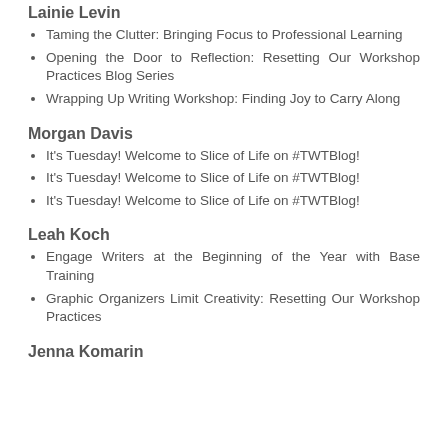Lainie Levin
Taming the Clutter: Bringing Focus to Professional Learning
Opening the Door to Reflection: Resetting Our Workshop Practices Blog Series
Wrapping Up Writing Workshop: Finding Joy to Carry Along
Morgan Davis
It's Tuesday! Welcome to Slice of Life on #TWTBlog!
It's Tuesday! Welcome to Slice of Life on #TWTBlog!
It's Tuesday! Welcome to Slice of Life on #TWTBlog!
Leah Koch
Engage Writers at the Beginning of the Year with Base Training
Graphic Organizers Limit Creativity: Resetting Our Workshop Practices
Jenna Komarin